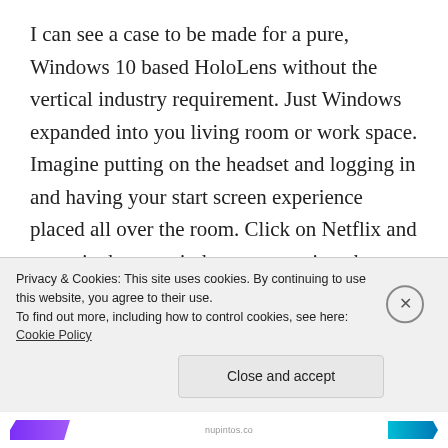I can see a case to be made for a pure, Windows 10 based HoloLens without the vertical industry requirement. Just Windows expanded into you living room or work space. Imagine putting on the headset and logging in and having your start screen experience placed all over the room. Click on Netflix and a movie theater window opens at just the right distance in space. Media consumption becomes an immersive experience. Movies, music, even web browsing are all spread out around your environment. Cortana can float through the room and walk with you like a real assistant. Rather
Privacy & Cookies: This site uses cookies. By continuing to use this website, you agree to their use.
To find out more, including how to control cookies, see here: Cookie Policy
Close and accept